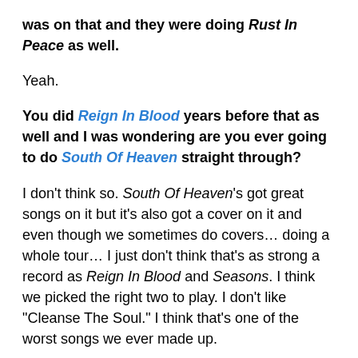was on that and they were doing Rust In Peace as well.
Yeah.
You did Reign In Blood years before that as well and I was wondering are you ever going to do South Of Heaven straight through?
I don't think so. South Of Heaven's got great songs on it but it's also got a cover on it and even though we sometimes do covers… doing a whole tour… I just don't think that's as strong a record as Reign In Blood and Seasons. I think we picked the right two to play. I don't like "Cleanse The Soul." I think that's one of the worst songs we ever made up.
Oh really?